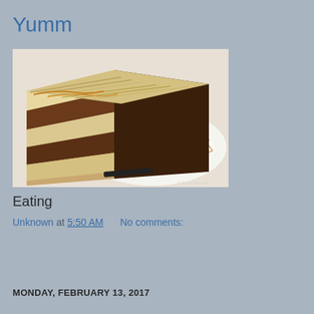Yumm
[Figure (photo): Close-up photo of a slice of layered chocolate cake with cream filling and caramel drizzle on a white plate with a fork]
Eating
Unknown at 5:50 AM    No comments:
Share
MONDAY, FEBRUARY 13, 2017